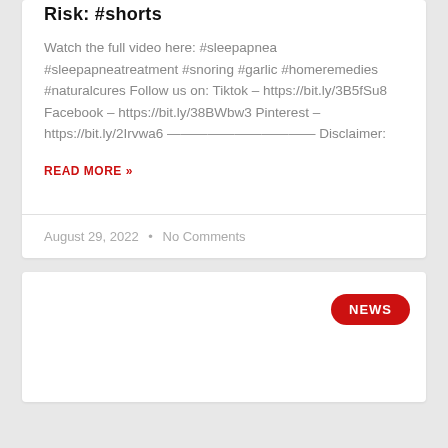Risk: #shorts
Watch the full video here: #sleepapnea #sleepapneatreatment #snoring #garlic #homeremedies #naturalcures Follow us on: Tiktok – https://bit.ly/3B5fSu8 Facebook – https://bit.ly/38BWbw3 Pinterest – https://bit.ly/2Irvwa6 ——————————— Disclaimer:
READ MORE »
August 29, 2022  •  No Comments
NEWS